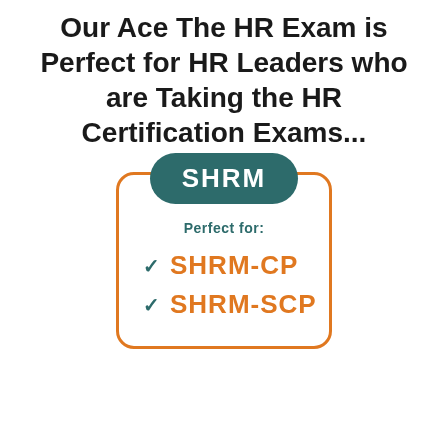Our Ace The HR Exam is Perfect for HR Leaders who are Taking the HR Certification Exams...
[Figure (infographic): Clipboard-style infographic with SHRM badge at top, showing 'Perfect for:' label and two certification items: SHRM-CP and SHRM-SCP with teal checkmarks, orange border clipboard shape, teal rounded badge at top.]